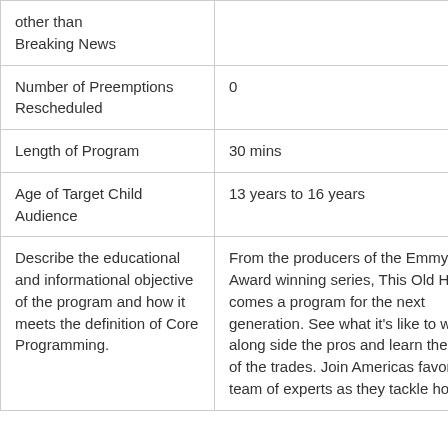| Field | Value |
| --- | --- |
| other than Breaking News |  |
| Number of Preemptions Rescheduled | 0 |
| Length of Program | 30 mins |
| Age of Target Child Audience | 13 years to 16 years |
| Describe the educational and informational objective of the program and how it meets the definition of Core Programming. | From the producers of the Emmy Award winning series, This Old House comes a program for the next generation. See what it's like to work along side the pros and learn the tricks of the trades. Join Americas favorite team of experts as they tackle home |